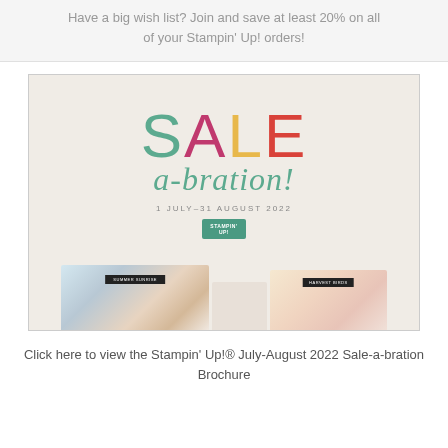Have a big wish list? Join and save at least 20% on all of your Stampin' Up! orders!
[Figure (illustration): Sale-a-bration promotional banner image with large colorful letters spelling SALE in green, pink, yellow and red, with 'a-bration!' in green italic script below, date '1 JULY–31 AUGUST 2022', Stampin' Up! logo, and craft product images along the bottom.]
Click here to view the Stampin' Up!® July-August 2022 Sale-a-bration Brochure